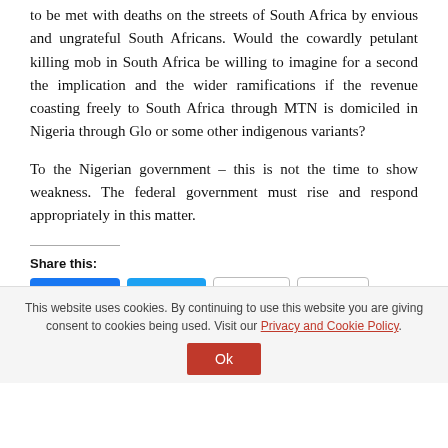to be met with deaths on the streets of South Africa by envious and ungrateful South Africans. Would the cowardly petulant killing mob in South Africa be willing to imagine for a second the implication and the wider ramifications if the revenue coasting freely to South Africa through MTN is domiciled in Nigeria through Glo or some other indigenous variants?
To the Nigerian government – this is not the time to show weakness. The federal government must rise and respond appropriately in this matter.
Share this:
[Figure (other): Social sharing buttons: Facebook Share 1, Tweet, Email, Print, LinkedIn Share, Skype Share, WhatsApp, More]
This website uses cookies. By continuing to use this website you are giving consent to cookies being used. Visit our Privacy and Cookie Policy.